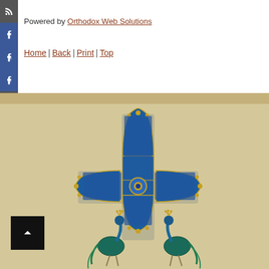Powered by Orthodox Web Solutions
Home | Back | Print | Top
[Figure (illustration): Byzantine-style decorative cross with blue and gold enamel work, flanked by two blue peacocks on a parchment-colored background]